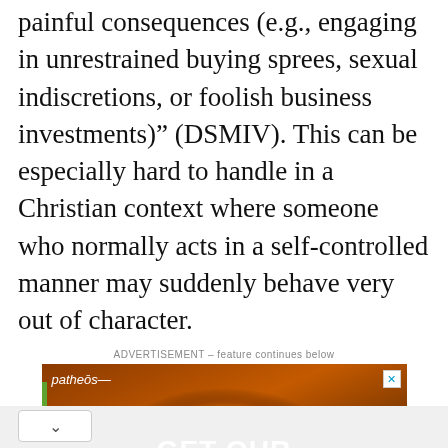painful consequences (e.g., engaging in unrestrained buying sprees, sexual indiscretions, or foolish business investments)” (DSMIV). This can be especially hard to handle in a Christian context where someone who normally acts in a self-controlled manner may suddenly behave very out of character.
ADVERTISEMENT – feature continues below
[Figure (other): Advertisement banner for Patheos showing a bright glowing light on a dark orange/space background with text 'GET OUR NEW VIDEO' in white bold letters. The Patheos branding appears top-left. A close button (X) appears top-right.]